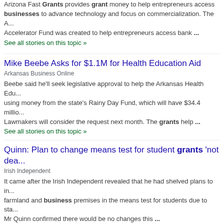Arizona Fast Grants provides grant money to help entrepreneurs access businesses to advance technology and focus on commercialization. The A... Accelerator Fund was created to help entrepreneurs access bank ...
See all stories on this topic »
Mike Beebe Asks for $1.1M for Health Education Aid
Arkansas Business Online
Beebe said he'll seek legislative approval to help the Arkansas Health Edu... using money from the state's Rainy Day Fund, which will have $34.4 millio... Lawmakers will consider the request next month. The grants help ...
See all stories on this topic »
Quinn: Plan to change means test for student grants 'not dea...
Irish Independent
It came after the Irish Independent revealed that he had shelved plans to in... farmland and business premises in the means test for students due to sta... Mr Quinn confirmed there would be no changes this ...
See all stories on this topic »
Agricultural grants and loans available
Norman Transcript
NORMAN — The Agricultural Enhancement and Diversification Program he... agriculture-related projects across the state with zero percent interest loan...